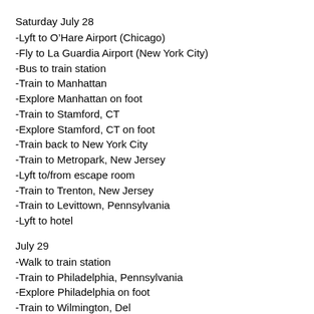Saturday July 28
-Lyft to O’Hare Airport (Chicago)
-Fly to La Guardia Airport (New York City)
-Bus to train station
-Train to Manhattan
-Explore Manhattan on foot
-Train to Stamford, CT
-Explore Stamford, CT on foot
-Train back to New York City
-Train to Metropark, New Jersey
-Lyft to/from escape room
-Train to Trenton, New Jersey
-Train to Levittown, Pennsylvania
-Lyft to hotel
July 29
-Walk to train station
-Train to Philadelphia, Pennsylvania
-Explore Philadelphia on foot
-Train to Wilmington, Delaware (cut off)